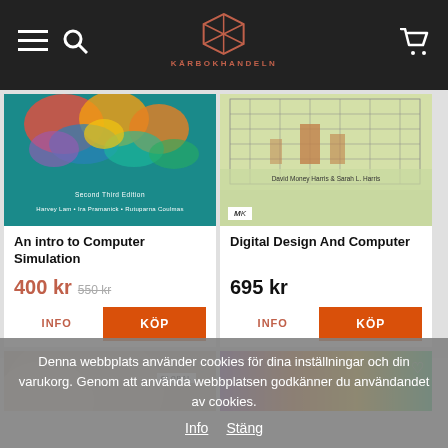KÄRBOKHANDELN
[Figure (photo): Book cover: An intro to Computer Simulation, teal background with colorful network visualization]
An intro to Computer Simulation
400 kr  550 kr
[Figure (photo): Book cover: Digital Design And Computer, green background with circuit/architecture diagram, MK publisher logo]
Digital Design And Computer
695 kr
[Figure (photo): Partially visible book cover with Global label]
[Figure (photo): Partially visible book cover with purple/yellow gradient]
Denna webbplats använder cookies för dina inställningar och din varukorg. Genom att använda webbplatsen godkänner du användandet av cookies.
Info  Stäng